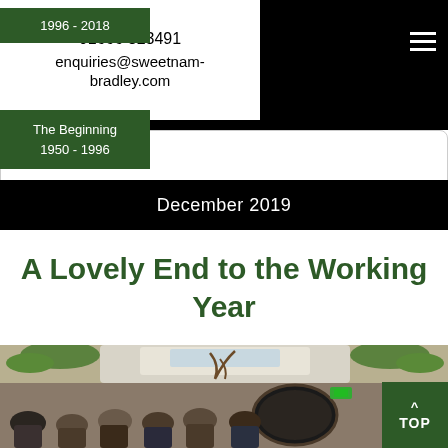01666 823491
enquiries@sweetnam-bradley.com
1996 - 2018
The Beginning
1950 - 1996
December 2019
A Lovely End to the Working Year
[Figure (photo): Group of people standing inside a restaurant or event venue with vaulted white ceiling, hanging plants, antler decoration, and a large oval mirror on the wall. Warm ambient lighting.]
^ TOP